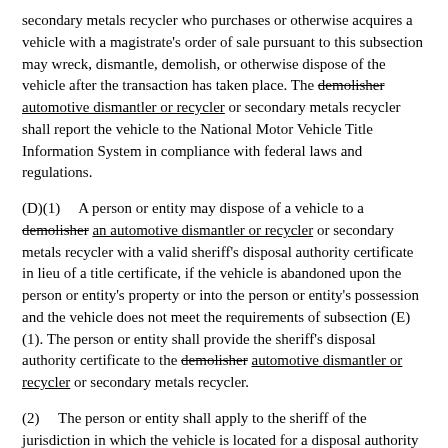secondary metals recycler who purchases or otherwise acquires a vehicle with a magistrate's order of sale pursuant to this subsection may wreck, dismantle, demolish, or otherwise dispose of the vehicle after the transaction has taken place. The demolisher automotive dismantler or recycler or secondary metals recycler shall report the vehicle to the National Motor Vehicle Title Information System in compliance with federal laws and regulations.
(D)(1)    A person or entity may dispose of a vehicle to a demolisher an automotive dismantler or recycler or secondary metals recycler with a valid sheriff's disposal authority certificate in lieu of a title certificate, if the vehicle is abandoned upon the person or entity's property or into the person or entity's possession and the vehicle does not meet the requirements of subsection (E)(1). The person or entity shall provide the sheriff's disposal authority certificate to the demolisher automotive dismantler or recycler or secondary metals recycler.
(2)    The person or entity shall apply to the sheriff of the jurisdiction in which the vehicle is located for a disposal authority certificate to dispose of the vehicle to a demolisher an automotive dismantler or recycler or secondary metals recycler. The application must provide, at a minimum, the person's or entity's name and address, the year, make, model, and identification